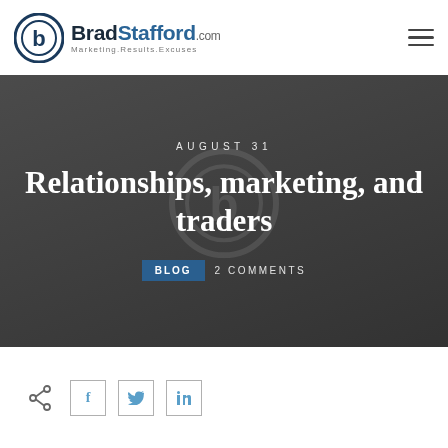[Figure (logo): BradStafford.com logo with circular 'b' icon and tagline 'Marketing.Results.Excuses']
[Figure (infographic): Hero banner with dark grey background showing date 'AUGUST 31', title 'Relationships, marketing, and traders', category badge 'BLOG' and '2 COMMENTS']
AUGUST 31
Relationships, marketing, and traders
BLOG  2 COMMENTS
[Figure (infographic): Social sharing icons row: share icon, Facebook button, Twitter button, LinkedIn button]